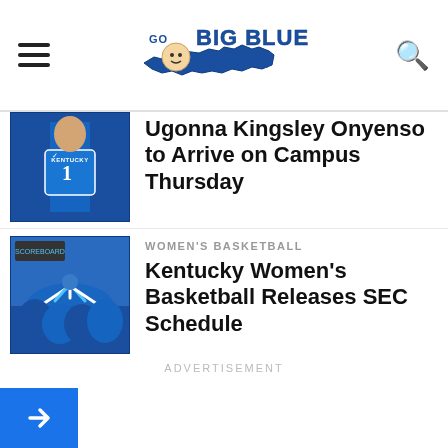Go Big Blue Country
[Figure (photo): Kentucky basketball player in blue #1 jersey]
Ugonna Kingsley Onyenso to Arrive on Campus Thursday
[Figure (photo): Women's basketball team huddle]
WOMEN'S BASKETBALL
Kentucky Women's Basketball Releases SEC Schedule
ADVERTISEMENT